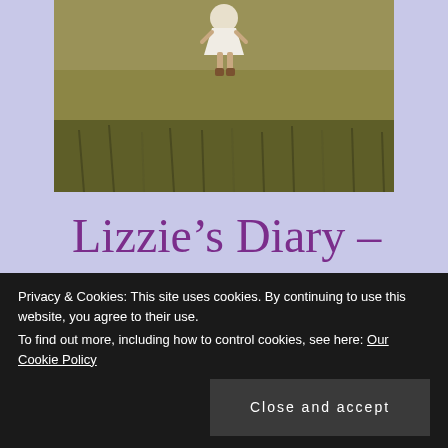[Figure (photo): Outdoor photo of a child in a white dress walking through tall golden-green grass field, photographed from behind at a distance.]
Lizzie’s Diary – Entry 26
Privacy & Cookies: This site uses cookies. By continuing to use this website, you agree to their use.
To find out more, including how to control cookies, see here: Our Cookie Policy
Close and accept